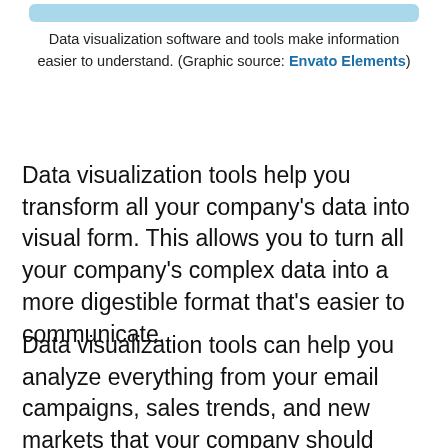[Figure (other): Light blue rounded rectangle bar at top of page]
Data visualization software and tools make information easier to understand. (Graphic source: Envato Elements)
Data visualization tools help you transform all your company's data into visual form. This allows you to turn all your company's complex data into a more digestible format that's easier to communicate.
Data visualization tools can help you analyze everything from your email campaigns, sales trends, and new markets that your company should pursue.